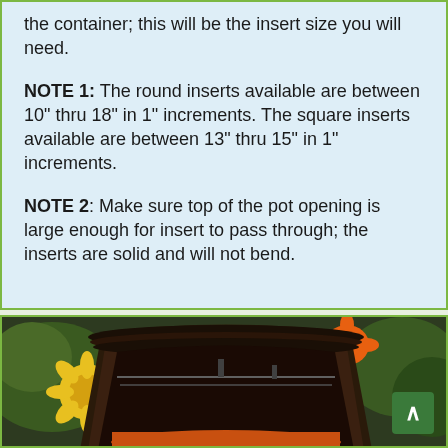the container; this will be the insert size you will need.
NOTE 1: The round inserts available are between 10" thru 18" in 1" increments. The square inserts available are between 13" thru 15" in 1" increments.
NOTE 2: Make sure top of the pot opening is large enough for insert to pass through; the inserts are solid and will not bend.
[Figure (photo): A dark brown circular planter pot with an orange insert visible at the bottom, with yellow and orange flowers (marigolds and daisies) visible in the background on green foliage.]